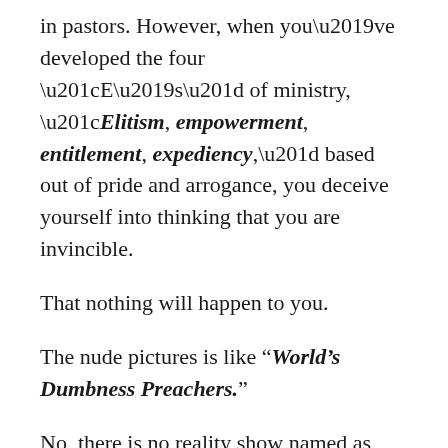in pastors. However, when you’ve developed the four “E’s” of ministry, “Elitism, empowerment, entitlement, expediency,” based out of pride and arrogance, you deceive yourself into thinking that you are invincible.
That nothing will happen to you.
The nude pictures is like “World’s Dumbness Preachers.”
No, there is no reality show named as such, but I wouldn’t doubt it one moment if a reality show comes up where we watch preachers do the dumbest things.